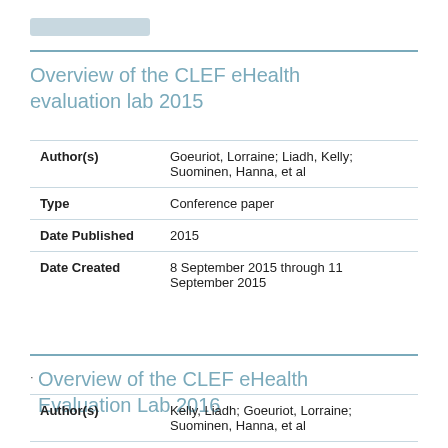Overview of the CLEF eHealth evaluation lab 2015
| Field | Value |
| --- | --- |
| Author(s) | Goeuriot, Lorraine; Liadh, Kelly; Suominen, Hanna, et al |
| Type | Conference paper |
| Date Published | 2015 |
| Date Created | 8 September 2015 through 11 September 2015 |
Overview of the CLEF eHealth Evaluation Lab 2016
| Field | Value |
| --- | --- |
| Author(s) | Kelly, Liadh; Goeuriot, Lorraine; Suominen, Hanna, et al |
| Type | Journal article |